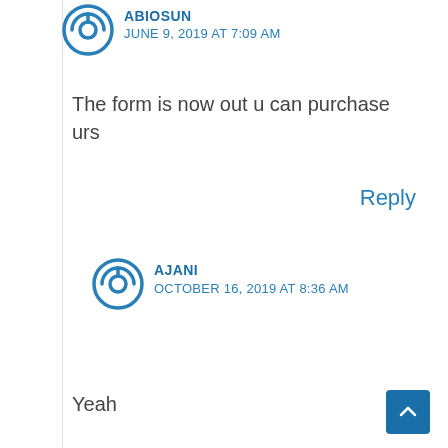ABIOSUN
JUNE 9, 2019 AT 7:09 AM
The form is now out u can purchase urs
Reply
[Figure (illustration): Blue circular power button icon avatar for user AJANI]
AJANI
OCTOBER 16, 2019 AT 8:36 AM
Yeah